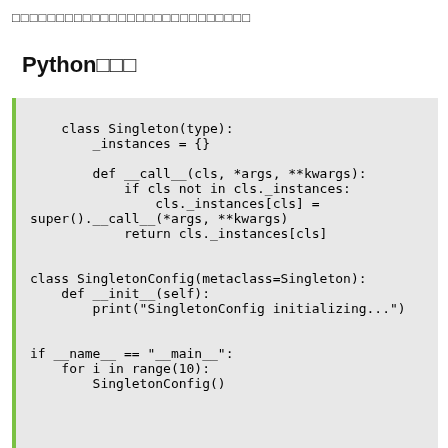□□□□□□□□□□□□□□□□□□□□□□□□□□□
Python□□□
class Singleton(type):
    _instances = {}

    def __call__(cls, *args, **kwargs):
        if cls not in cls._instances:
            cls._instances[cls] =
super().__call__(*args, **kwargs)
        return cls._instances[cls]


class SingletonConfig(metaclass=Singleton):
    def __init__(self):
        print("SingletonConfig initializing...")


if __name__ == "__main__":
    for i in range(10):
        SingletonConfig()